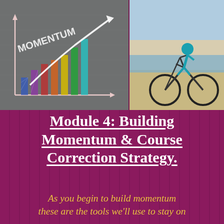[Figure (photo): Composite image: left side shows a chalk-drawn bar chart on pavement with the word MOMENTUM and an upward arrow, with colorful bars in blue, purple, red, orange, yellow, and green. Right side shows a person riding a bicycle on a beach.]
Module 4: Building Momentum & Course Correction Strategy.
As you begin to build momentum these are the tools we'll use to stay on